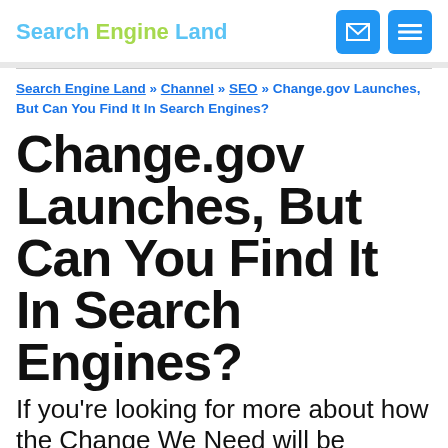Search Engine Land
Search Engine Land » Channel » SEO » Change.gov Launches, But Can You Find It In Search Engines?
Change.gov Launches, But Can You Find It In Search Engines?
If you're looking for more about how the Change We Need will be implemented by incoming President Elect Barack Obama's